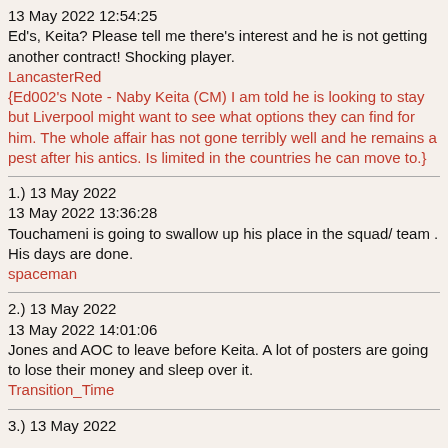13 May 2022 12:54:25
Ed's, Keita? Please tell me there's interest and he is not getting another contract! Shocking player.
LancasterRed
{Ed002's Note - Naby Keita (CM) I am told he is looking to stay but Liverpool might want to see what options they can find for him. The whole affair has not gone terribly well and he remains a pest after his antics. Is limited in the countries he can move to.}
1.) 13 May 2022
13 May 2022 13:36:28
Touchameni is going to swallow up his place in the squad/ team . His days are done.
spaceman
2.) 13 May 2022
13 May 2022 14:01:06
Jones and AOC to leave before Keita. A lot of posters are going to lose their money and sleep over it.
Transition_Time
3.) 13 May 2022